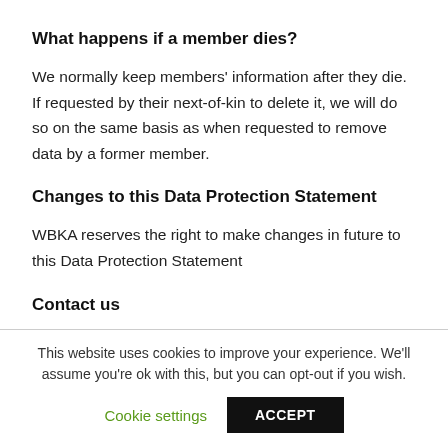What happens if a member dies?
We normally keep members' information after they die. If requested by their next-of-kin to delete it, we will do so on the same basis as when requested to remove data by a former member.
Changes to this Data Protection Statement
WBKA reserves the right to make changes in future to this Data Protection Statement
Contact us
This website uses cookies to improve your experience. We'll assume you're ok with this, but you can opt-out if you wish.
Cookie settings  ACCEPT